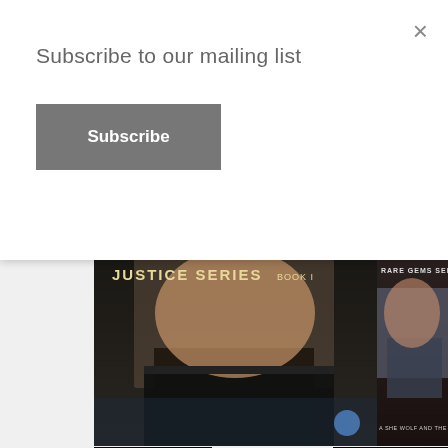Subscribe to our mailing list
Subscribe
×
[Figure (photo): Book cover: Justice Series Book 1 by Kathi S. Barton - shows shirtless man in dark pants near water]
[Figure (photo): Book cover: Rare Gems Series - A She Wolf and the Man She Lusts - shows close up of torso]
[Figure (photo): Book cover: Mark - Bentley Legacy Book 1 by Kathi S. Barton - panther silhouette and shirtless man]
[Figure (photo): Book cover: Keith - Gavin Tigers Series by Kathi S. Barton - man with tiger]
[Figure (photo): Book cover: Roland - Blood Brotherhood series by Kathi S. Barton - dramatic red-toned cover]
[Figure (photo): Book cover: Art - Muse Protects series by Kathi S. Barton - silver-toned wolf/man]
[Figure (photo): Book cover by Kathi S. Barton - Bestselling Author of Ryland]
[Figure (photo): Book cover by Kathi S. Barton - Bestselling Author of Ryland with Best Seller badge]
[Figure (photo): Book cover by Kathi S. Barton - Award Winning Author with Best Seller badge]